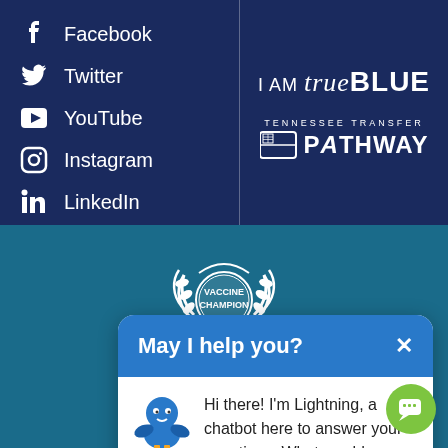Facebook
Twitter
YouTube
Instagram
LinkedIn
TikTok
[Figure (logo): I AM trueBLUE logo in white text on navy background]
[Figure (logo): Tennessee Transfer PATHWAY logo in white on navy background]
[Figure (logo): Vaccine Champion badge/seal in white on teal background]
[Figure (screenshot): Chatbot popup with blue header 'May I help you?' and message from Lightning chatbot mascot saying 'Hi there! I'm Lightning, a chatbot here to answer your questions. What would you like to know?']
020
[Figure (illustration): Green circular chat button with chat icon]